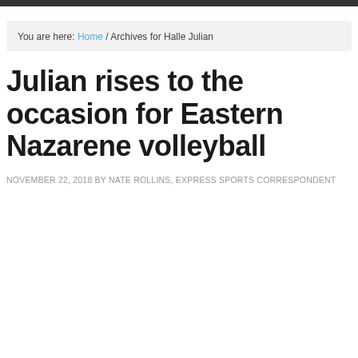You are here: Home / Archives for Halle Julian
Julian rises to the occasion for Eastern Nazarene volleyball
NOVEMBER 22, 2018 BY NATE ROLLINS, EXPRESS SPORTS CORRESPONDENT